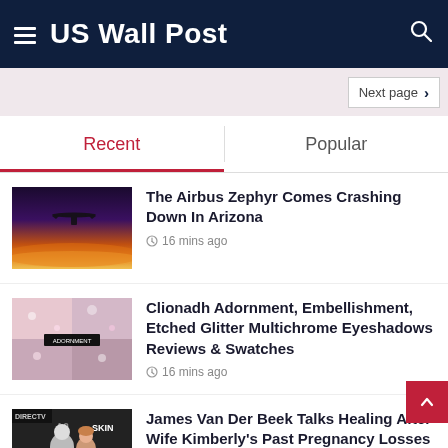US Wall Post
Next page
Recent
Popular
The Airbus Zephyr Comes Crashing Down In Arizona
16 mins ago
Clionadh Adornment, Embellishment, Etched Glitter Multichrome Eyeshadows Reviews & Swatches
16 mins ago
James Van Der Beek Talks Healing After Wife Kimberly's Past Pregnancy Losses